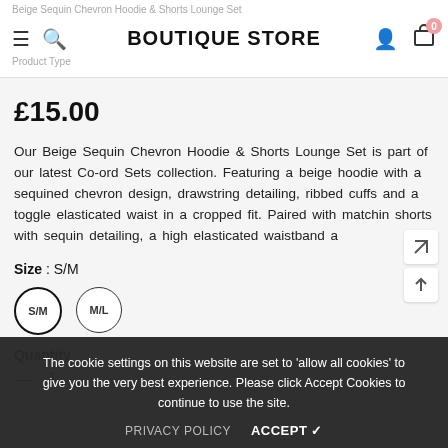BOUTIQUE STORE
Beige Sequin Chevron Hoodie & Shorts Lounge Set
Product Type: Co-ords
£15.00
Our Beige Sequin Chevron Hoodie & Shorts Lounge Set is part of our latest Co-ord Sets collection. Featuring a beige hoodie with a sequined chevron design, drawstring detailing, ribbed cuffs and a toggle elasticated waist in a cropped fit. Paired with matching shorts with sequin detailing, a high elasticated waistband a
Size : S/M
S/M   M/L
Quantity
— 1
The cookie settings on this website are set to 'allow all cookies' to give you the very best experience. Please click Accept Cookies to continue to use the site.
PRIVACY POLICY   ACCEPT ✓